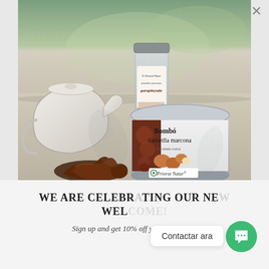[Figure (photo): Product photograph showing Priorat Natur food products on a table: a tin labeled 'Bombó d'ametlla marcona' (chocolate-covered marcona almond bombs) with the Priorat Natur brand logo, a glass jar labeled 'ametlla marcona garapinyada' (caramelized marcona almonds) with Priorat Natur branding, a cream-colored tea kettle/teapot, and some chocolate/nut confections scattered on the table in the foreground. Outdoor setting with natural light.]
WE ARE CELEBRATING OUR NEW WEBSITE!
Sign up and get 10% off your first order
Contactar ara